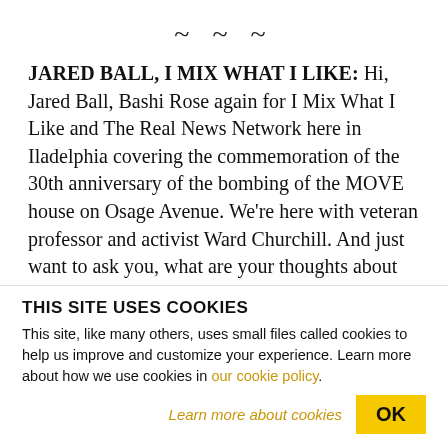~~~
JARED BALL, I MIX WHAT I LIKE: Hi, Jared Ball, Bashi Rose again for I Mix What I Like and The Real News Network here in Iladelphia covering the commemoration of the 30th anniversary of the bombing of the MOVE house on Osage Avenue. We're here with veteran professor and activist Ward Churchill. And just want to ask you, what are your thoughts about today and this anniversary? What
THIS SITE USES COOKIES
This site, like many others, uses small files called cookies to help us improve and customize your experience. Learn more about how we use cookies in our cookie policy.
Learn more about cookies
OK